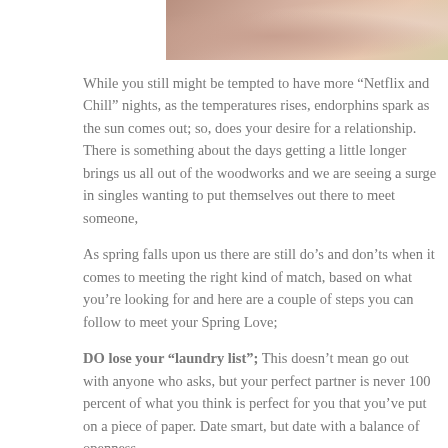[Figure (photo): Partial photo of a couple outdoors with floral background, cropped at top]
While you still might be tempted to have more “Netflix and Chill” nights, as the temperatures rises, endorphins spark as the sun comes out; so, does your desire for a relationship. There is something about the days getting a little longer brings us all out of the woodworks and we are seeing a surge in singles wanting to put themselves out there to meet someone,
As spring falls upon us there are still do’s and don’ts when it comes to meeting the right kind of match, based on what you’re looking for and here are a couple of steps you can follow to meet your Spring Love;
DO lose your “laundry list”; This doesn’t mean go out with anyone who asks, but your perfect partner is never 100 percent of what you think is perfect for you that you’ve put on a piece of paper. Date smart, but date with a balance of openness.
DON’T TMI; As relaxed as you are with this great first date, trust me that he’d rather not hear about your alcohol…